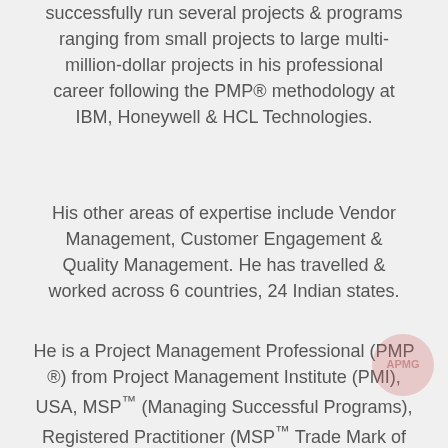successfully run several projects & programs ranging from small projects to large multi-million-dollar projects in his professional career following the PMP® methodology at IBM, Honeywell & HCL Technologies.
His other areas of expertise include Vendor Management, Customer Engagement & Quality Management. He has travelled & worked across 6 countries, 24 Indian states.
He is a Project Management Professional (PMP ®) from Project Management Institute (PMI), USA, MSP™ (Managing Successful Programs), Registered Practitioner (MSP™ Trade Mark of the UK Office of Government Commerce) from APMG-International UK, Certified Project Manager from Honeywell, Six Sigma Green Belt, Qualified MBTI